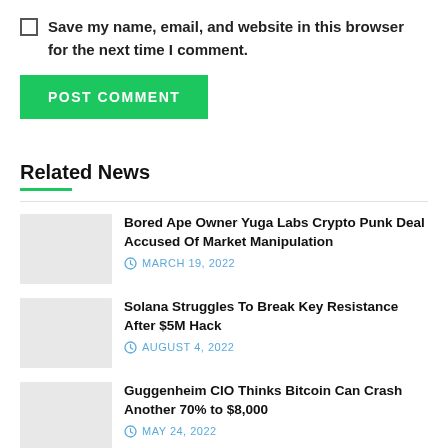Save my name, email, and website in this browser for the next time I comment.
POST COMMENT
Related News
Bored Ape Owner Yuga Labs Crypto Punk Deal Accused Of Market Manipulation
MARCH 19, 2022
Solana Struggles To Break Key Resistance After $5M Hack
AUGUST 4, 2022
Guggenheim CIO Thinks Bitcoin Can Crash Another 70% to $8,000
MAY 24, 2022